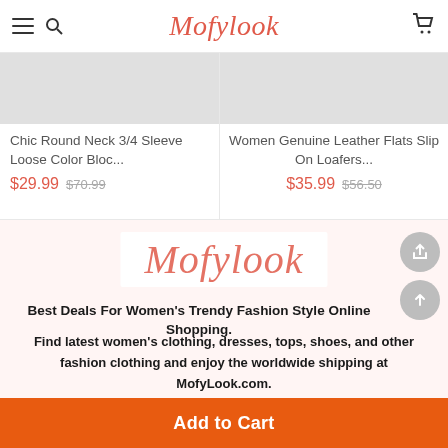Mofylook
Chic Round Neck 3/4 Sleeve Loose Color Bloc...
$29.99  $70.99
Women Genuine Leather Flats Slip On Loafers...
$35.99  $56.50
[Figure (logo): Mofylook script logo in salmon/coral italic font on light pink background]
Best Deals For Women's Trendy Fashion Style Online Shopping.
Find latest women's clothing, dresses, tops, shoes, and other fashion clothing and enjoy the worldwide shipping at MofyLook.com.
Add to Cart